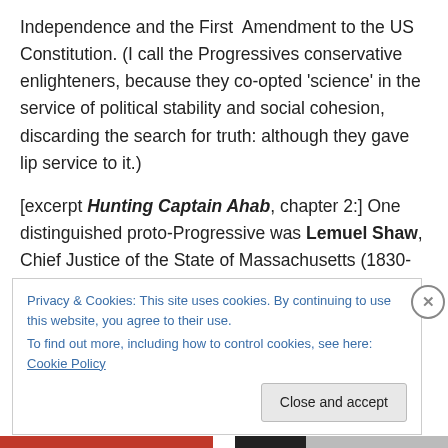Independence and the First Amendment to the US Constitution. (I call the Progressives conservative enlighteners, because they co-opted 'science' in the service of political stability and social cohesion, discarding the search for truth: although they gave lip service to it.)
[excerpt Hunting Captain Ahab, chapter 2:] One distinguished proto-Progressive was Lemuel Shaw, Chief Justice of the State of Massachusetts (1830-60), Herman Melville's father-in-law and patron until his death. I have joined two of Shaw's major decisions to suggest a leitmotif
Privacy & Cookies: This site uses cookies. By continuing to use this website, you agree to their use.
To find out more, including how to control cookies, see here: Cookie Policy
Close and accept